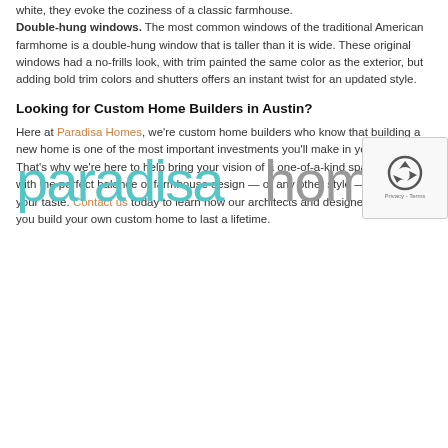white, they evoke the coziness of a classic farmhouse. Double-hung windows. The most common windows of the traditional American farmhome is a double-hung window that is taller than it is wide. These original windows had a no-frills look, with trim painted the same color as the exterior, but adding bold trim colors and shutters offers an instant twist for an updated style.
Looking for Custom Home Builders in Austin?
Here at Paradisa Homes, we're custom home builders who know that building a new home is one of the most important investments you'll make in your lifetime. That's why we're here to help bring your vision of a one-of-a-kind space to life with the perfect balance of farmhouse design — or any other style — that suits your taste. Contact us today to learn how our architects and designers can help you build your own custom home to last a lifetime.
[Figure (logo): Paradisa Homes logo with teal 'paradisa' and grey 'homes' text]